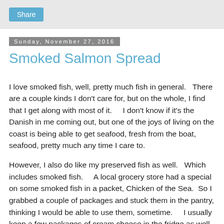[Figure (other): Share button in a light grey header bar]
Sunday, November 27, 2016
Smoked Salmon Spread
I love smoked fish, well, pretty much fish in general.   There are a couple kinds I don't care for, but on the whole, I find that I get along with most of it.    I don't know if it's the Danish in me coming out, but one of the joys of living on the coast is being able to get seafood, fresh from the boat, seafood, pretty much any time I care to.
However, I also do like my preserved fish as well.   Which includes smoked fish.     A local grocery store had a special on some smoked fish in a packet, Chicken of the Sea.  So I grabbed a couple of packages and stuck them in the pantry, thinking I would be able to use them, sometime.    I usually keep a few packages of cream cheese in the fridge as well.  They come in handy all the time.  So between the salmon, cream cheese and some sour cream I had the major